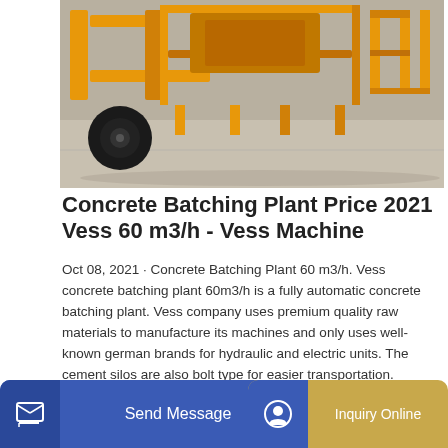[Figure (photo): Yellow concrete batching plant machinery on a warehouse/factory floor, showing wheels and orange/yellow metal frame structures]
Concrete Batching Plant Price 2021 Vess 60 m3/h - Vess Machine
Oct 08, 2021 · Concrete Batching Plant 60 m3/h. Vess concrete batching plant 60m3/h is a fully automatic concrete batching plant. Vess company uses premium quality raw materials to manufacture its machines and only uses well-known german brands for hydraulic and electric units. The cement silos are also bolt type for easier transportation.
GET A QUOTE
[Figure (photo): Partial view of another concrete batching plant machine, bottom of page]
Send Message   Inquiry Online